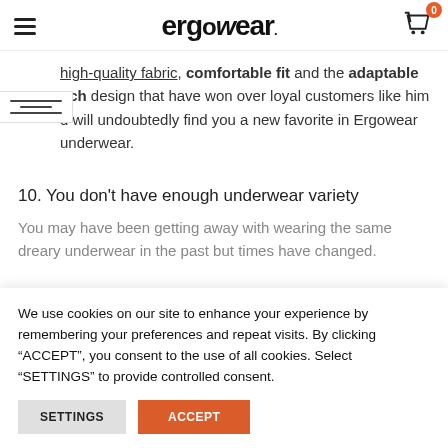ergowear
high-quality fabric, comfortable fit and the adaptable touch design that have won over loyal customers like him and will undoubtedly find you a new favorite in Ergowear underwear.
10. You don't have enough underwear variety
You may have been getting away with wearing the same dreary underwear in the past but times have changed.
We use cookies on our site to enhance your experience by remembering your preferences and repeat visits. By clicking “ACCEPT”, you consent to the use of all cookies. Select “SETTINGS” to provide controlled consent.